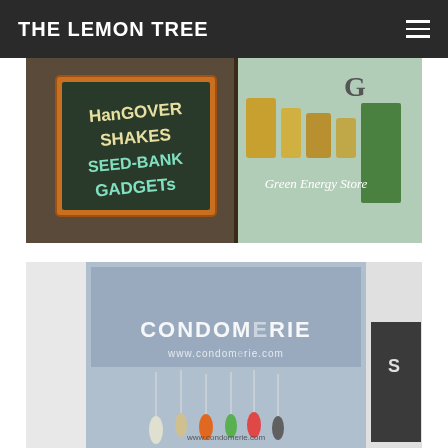THE LEMON TREE
[Figure (photo): Storefront window showing a chalkboard sign reading 'Hangover Shakes Seed-Bank Gadgets' and a 'Green Energy Store' sign with products visible through the window.]
[Figure (photo): Storefront window of 'Condomerie' shop (www.condomerie.com) with colorful product displays hanging inside the store, viewed through glass.]